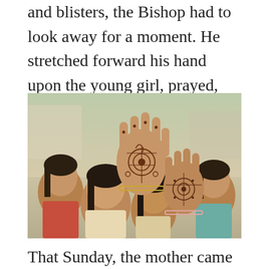and blisters, the Bishop had to look away for a moment. He stretched forward his hand upon the young girl, prayed, and sent them on their way.
[Figure (photo): Photograph of young Indian girls showing their hands decorated with henna (mehndi) patterns, with intricate floral and swirl designs on their palms.]
That Sunday, the mother came forward and